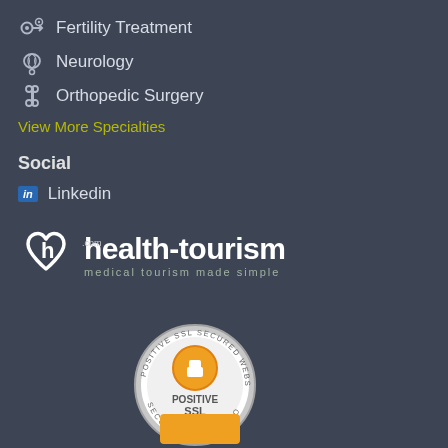Fertility Treatment
Neurology
Orthopedic Surgery
View More Specialties
Social
Linkedin
[Figure (logo): health-tourism.com logo with heart shape and text 'medical tourism made simple']
[Figure (logo): Positive SSL Secured Website badge by Comodo]
[Figure (other): Partial yellow badge at bottom of page]